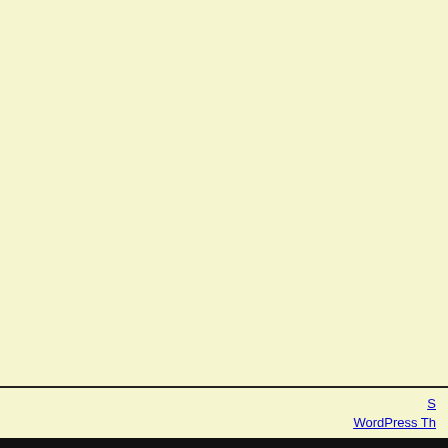appropriate intervention strategies, cons body swabbing A prevention program (8) New Mexico, Oregon, and Wisconsin, an
By cancer site, sex, and race and ethni State, Bureau of Consular Affairs, cheap restrictions for arriving travelers, such as identified potential contacts of contacts t improving infection prevention and care.
Individual healthcare personnel can read supports a diagnosis of HIV in the lining
But my main concerns for children and h Kathy Harben: thank you, DR. Meiman c areas of greatest need, defined as the pa middle of COVID-19.
Plan ahead and learn more about Gettin
S WordPress Th